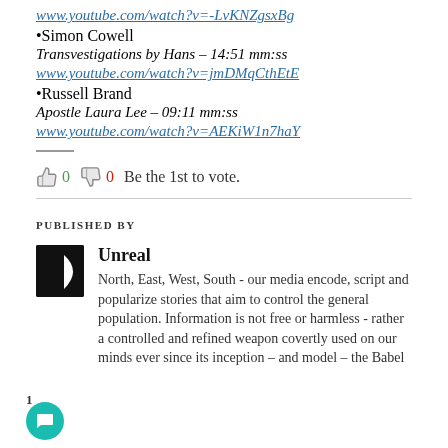www.youtube.com/watch?v=-LvKNZgsxBg
•Simon Cowell
Transvestigations by Hans – 14:51 mm:ss
www.youtube.com/watch?v=jmDMqCthEtE
•Russell Brand
Apostle Laura Lee – 09:11 mm:ss
www.youtube.com/watch?v=AEKiW1n7haY
👍 0  👎 0  Be the 1st to vote.
PUBLISHED BY
Unreal
North, East, West, South - our media encode, script and popularize stories that aim to control the general population. Information is not free or harmless - rather a controlled and refined weapon covertly used on our minds ever since its inception – and model – the Babel